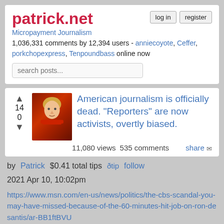patrick.net
Micropayment Journalism
1,036,331 comments by 12,394 users - anniecoyote, Ceffer, porkchopexpress, Tenpoundbass online now
search posts...
[Figure (photo): Avatar photo of a young blond boy in a red shirt with arms crossed]
American journalism is officially dead. "Reporters" are now activists, overtly biased.
11,080 views  535 comments    share
by Patrick  $0.41 total tips  đtip  follow  2021 Apr 10, 10:02pm
https://www.msn.com/en-us/news/politics/the-cbs-scandal-you-may-have-missed-because-of-the-60-minutes-hit-job-on-ron-desantis/ar-BB1ftBVU
The CBS scandal you may have missed
top  bottom  home